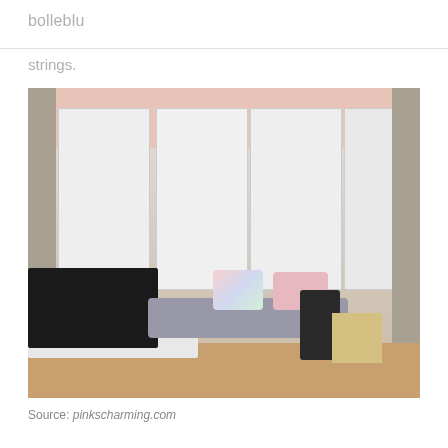bolleblu
strings.
[Figure (photo): Interior photo of a living room featuring a bay window with white plantation shutters, pink window reveal, grey curtains, a grey window seat with rainbow and pink cushions, a black plant pot with a red-leafed plant, a star-shaped light decoration, a large flat-screen TV on the left, a white TV stand, and a small green plant pot. Wooden floor is visible at the bottom.]
Source: pinkscharming.com